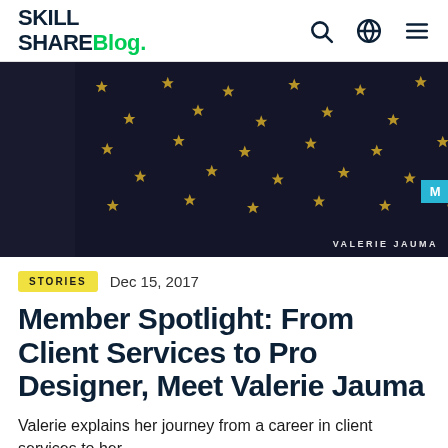SKILL SHARe Blog.
[Figure (photo): Dark navy fabric with gold star pattern, photo of Valerie Jauma. Watermark text: VALERIE JAUMA]
STORIES  Dec 15, 2017
Member Spotlight: From Client Services to Pro Designer, Meet Valerie Jauma
Valerie explains her journey from a career in client services to her